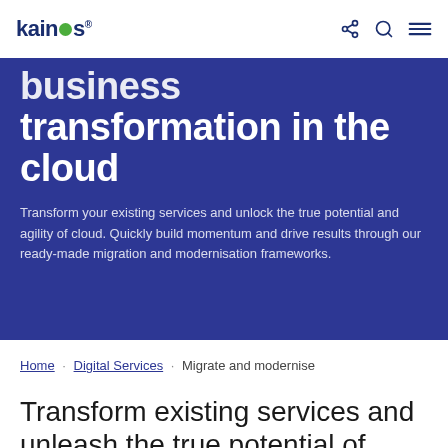kainos® [share] [search] [menu]
business transformation in the cloud
Transform your existing services and unlock the true potential and agility of cloud. Quickly build momentum and drive results through our ready-made migration and modernisation frameworks.
Home · Digital Services · Migrate and modernise
Transform existing services and unleash the true potential of cloud